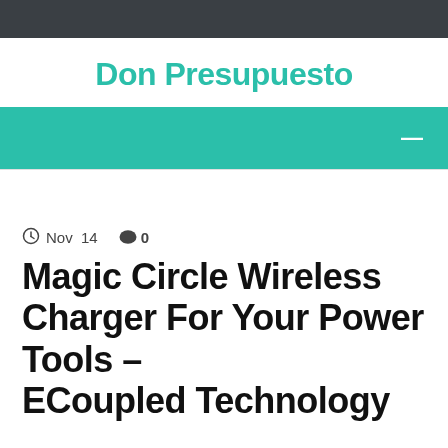Don Presupuesto
Nov 14  💬 0
Magic Circle Wireless Charger For Your Power Tools – ECoupled Technology